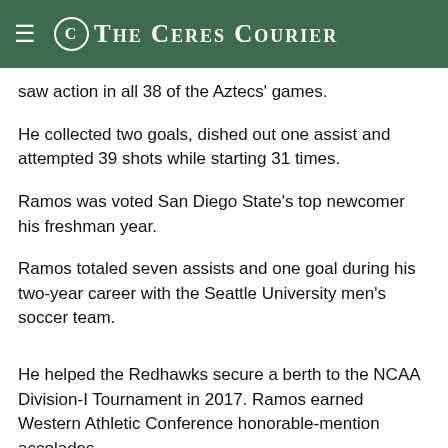The Ceres Courier
saw action in all 38 of the Aztecs' games.
He collected two goals, dished out one assist and attempted 39 shots while starting 31 times.
Ramos was voted San Diego State's top newcomer his freshman year.
Ramos totaled seven assists and one goal during his two-year career with the Seattle University men's soccer team.
He helped the Redhawks secure a berth to the NCAA Division-I Tournament in 2017. Ramos earned Western Athletic Conference honorable-mention accolades.
Ramos graduated from Central Valley High School in 2014.